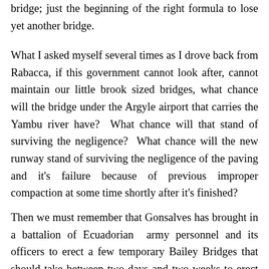bridge; just the beginning of the right formula to lose yet another bridge.
What I asked myself several times as I drove back from Rabacca, if this government cannot look after, cannot maintain our little brook sized bridges, what chance will the bridge under the Argyle airport that carries the Yambu river have?  What chance will that stand of surviving the negligence?  What chance will the new runway stand of surviving the negligence of the paving and it's failure because of previous improper compaction at some time shortly after it's finished?
Then we must remember that Gonsalves has brought in a battalion of Ecuadorian  army personnel and its officers to erect a few temporary Bailey Bridges that should take between two days and two weeks to erect each of them, the battalion was given to do a few of eight to ten them,